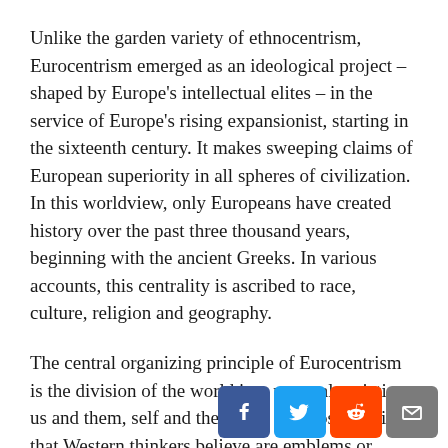Unlike the garden variety of ethnocentrism, Eurocentrism emerged as an ideological project – shaped by Europe's intellectual elites – in the service of Europe's rising expansionist, starting in the sixteenth century. It makes sweeping claims of European superiority in all spheres of civilization. In this worldview, only Europeans have created history over the past three thousand years, beginning with the ancient Greeks. In various accounts, this centrality is ascribed to race, culture, religion and geography.
The central organizing principle of Eurocentrism is the division of the world into unequal moieties: us and them, self and the Other. All those qualities that Western thinkers believe are emblems or sources of superiority are securely placed in the ‘us’ category; and their opposites are pinned on ‘them.’ The arrogance of this dichotomy is breathtaking.
Once these dichotomies are in place,     es   e